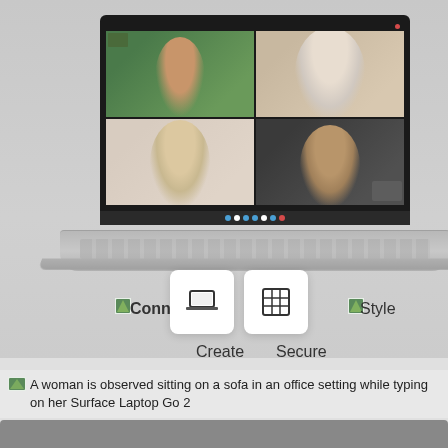[Figure (photo): A Microsoft Surface Laptop showing a Microsoft Teams video call with four participants on screen. Below the laptop are four feature icons and labels: Connect, Create, Secure, Style.]
Connect
Create
Secure
Style
Connect
Style
A woman is observed sitting on a sofa in an office setting while typing on her Surface Laptop Go 2